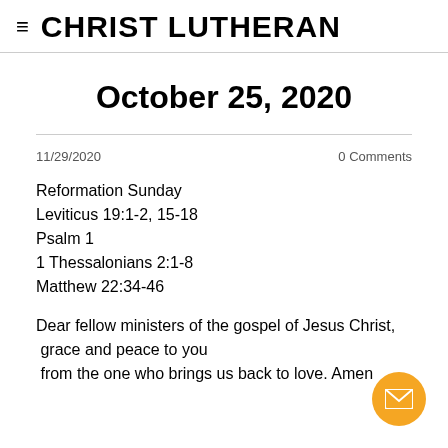CHRIST LUTHERAN
October 25, 2020
11/29/2020
0 Comments
Reformation Sunday
Leviticus 19:1-2, 15-18
Psalm 1
1 Thessalonians 2:1-8
Matthew 22:34-46
Dear fellow ministers of the gospel of Jesus Christ, grace and peace to you from the one who brings us back to love. Amen